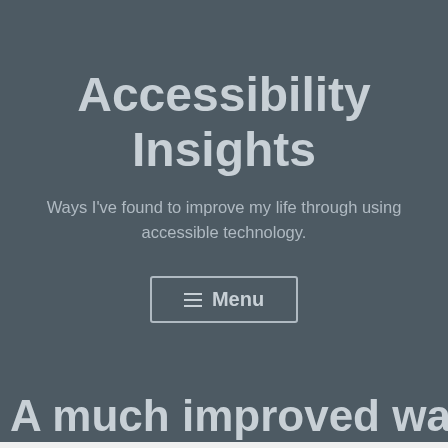Accessibility Insights
Ways I've found to improve my life through using accessible technology.
≡ Menu
A much improved way to
Follow ...